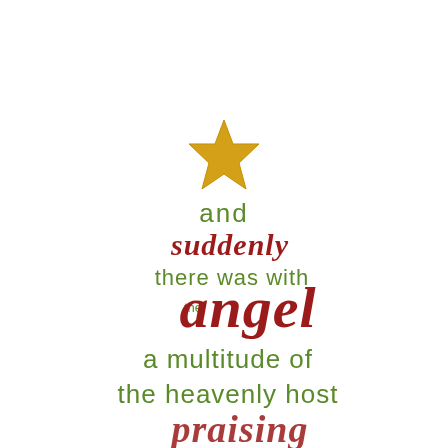[Figure (illustration): Christmas tree-shaped typographic illustration with a gold star at the top and text arranged in a tree shape. Text reads: 'and suddenly there was with the angel a multitude of the heavenly host' in alternating green and red/crimson fonts, forming a triangle/tree shape. A golden star SVG is at the apex.]